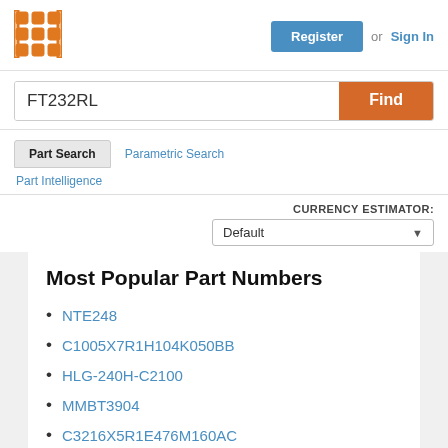[Figure (logo): Orange grid/matrix logo icon]
Register or Sign In
FT232RL
Find
Part Search
Parametric Search
Part Intelligence
CURRENCY ESTIMATOR: Default
Most Popular Part Numbers
NTE248
C1005X7R1H104K050BB
HLG-240H-C2100
MMBT3904
C3216X5R1E476M160AC